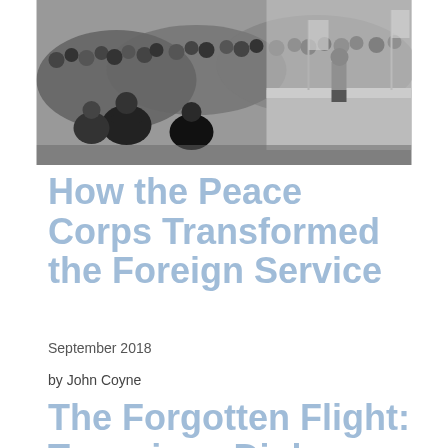[Figure (photo): Black and white photograph showing a crowd scene with people kneeling or sitting near a stage or platform area, with flags visible in the background. Appears to be an outdoor public gathering or ceremony.]
How the Peace Corps Transformed the Foreign Service
September 2018
by John Coyne
The Forgotten Flight: Terrorism, Diplomacy and the